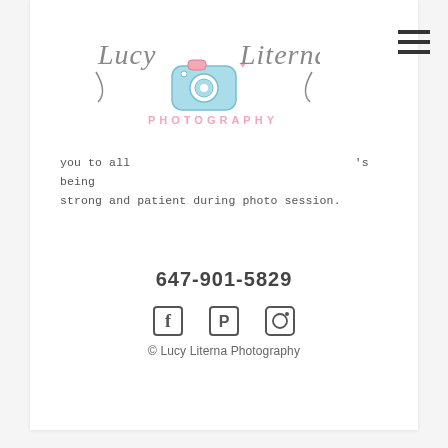[Figure (logo): Lucy Literna Photography logo with cursive text and camera icon in blue and pink]
you to all 's being strong and patient during photo session.
647-901-5829
[Figure (infographic): Social media icons: Facebook, Pinterest, Instagram]
© Lucy Literna Photography